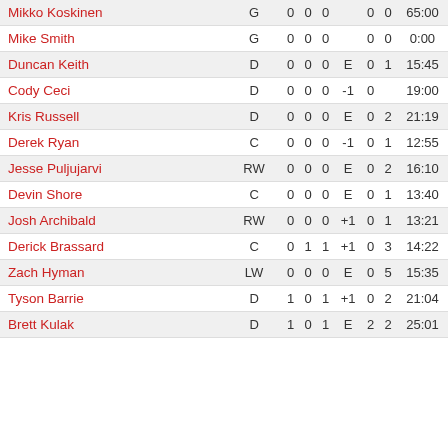| Player | Pos | G | A | Pts | +/- | PIM | SOG | TOI |
| --- | --- | --- | --- | --- | --- | --- | --- | --- |
| Mikko Koskinen | G | 0 | 0 | 0 |  | 0 | 0 | 65:00 |
| Mike Smith | G | 0 | 0 | 0 |  | 0 | 0 | 0:00 |
| Duncan Keith | D | 0 | 0 | 0 | E | 0 | 1 | 15:45 |
| Cody Ceci | D | 0 | 0 | 0 | -1 | 0 |  | 19:00 |
| Kris Russell | D | 0 | 0 | 0 | E | 0 | 2 | 21:19 |
| Derek Ryan | C | 0 | 0 | 0 | -1 | 0 | 1 | 12:55 |
| Jesse Puljujarvi | RW | 0 | 0 | 0 | E | 0 | 2 | 16:10 |
| Devin Shore | C | 0 | 0 | 0 | E | 0 | 1 | 13:40 |
| Josh Archibald | RW | 0 | 0 | 0 | +1 | 0 | 1 | 13:21 |
| Derick Brassard | C | 0 | 1 | 1 | +1 | 0 | 3 | 14:22 |
| Zach Hyman | LW | 0 | 0 | 0 | E | 0 | 5 | 15:35 |
| Tyson Barrie | D | 1 | 0 | 1 | +1 | 0 | 2 | 21:04 |
| Brett Kulak | D | 1 | 0 | 1 | E | 2 | 2 | 25:01 |